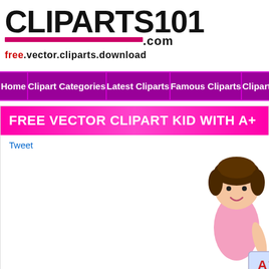[Figure (logo): Cliparts101.com logo with magenta bar and tagline 'free.vector.cliparts.download']
Home | Clipart Categories | Latest Cliparts | Famous Cliparts | Clipart C...
FREE VECTOR CLIPART KID WITH A+
Tweet
[Figure (illustration): Cartoon illustration of a child with dark brown hair holding a paper with A+ grade, partially visible at bottom right of page]